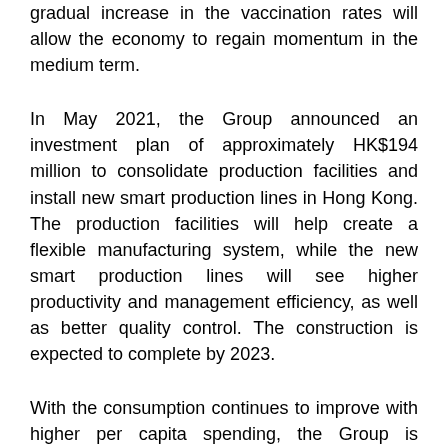gradual increase in the vaccination rates will allow the economy to regain momentum in the medium term.
In May 2021, the Group announced an investment plan of approximately HK$194 million to consolidate production facilities and install new smart production lines in Hong Kong. The production facilities will help create a flexible manufacturing system, while the new smart production lines will see higher productivity and management efficiency, as well as better quality control. The construction is expected to complete by 2023.
With the consumption continues to improve with higher per capita spending, the Group is confident on its time-proven track record and would continue to expand its business territory in the PRC with sustainable return.
Mr. Kiyotaka ANDO, Executive Director, Chairman and Chief Executive Officer of Nissin Foods, said, "At Nissin Foods, we